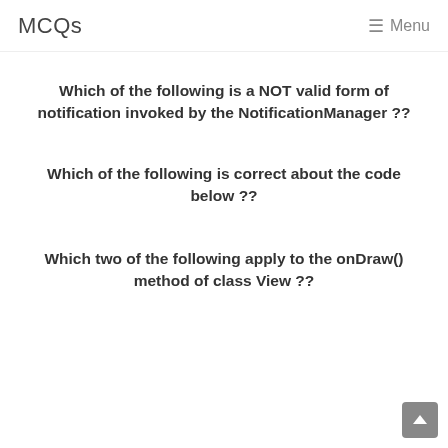MCQs  ☰ Menu
Which of the following is a NOT valid form of notification invoked by the NotificationManager ??
Which of the following is correct about the code below ??
Which two of the following apply to the onDraw() method of class View ??